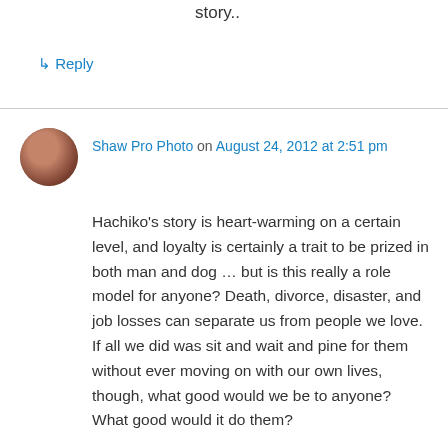story..
↳ Reply
Shaw Pro Photo on August 24, 2012 at 2:51 pm
Hachiko's story is heart-warming on a certain level, and loyalty is certainly a trait to be prized in both man and dog … but is this really a role model for anyone? Death, divorce, disaster, and job losses can separate us from people we love. If all we did was sit and wait and pine for them without ever moving on with our own lives, though, what good would we be to anyone? What good would it do them?
My dog Rudy came to me as sort of a rescue; I